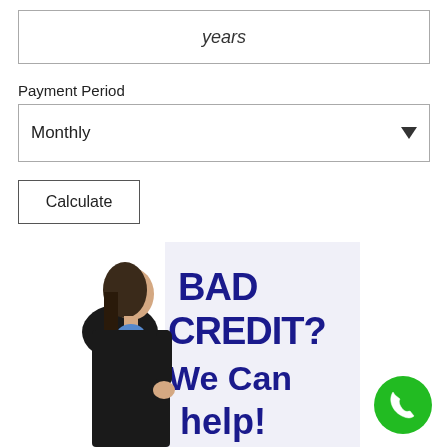years
Payment Period
Monthly
Calculate
[Figure (illustration): A woman in a black suit peeking around a sign that reads 'BAD CREDIT? We Can help!' in large bold dark blue text on a white background. A green phone icon circle is in the bottom right corner.]